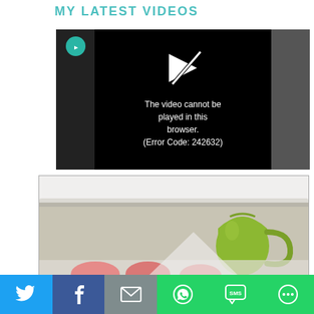MY LATEST VIDEOS
[Figure (screenshot): Video player showing error: 'The video cannot be played in this browser. (Error Code: 242632)' on black background with play icon, small circular green badge on left side and gray panel on right.]
[Figure (photo): Photo showing interior shelf or cabinet with white crown molding at top, beige/tan wall, green ceramic pitcher/jug on right, and partially visible pink/red bowls at bottom.]
[Figure (infographic): Share bar at bottom with six social sharing buttons: Twitter (blue bird), Facebook (blue f), Email (gray envelope), WhatsApp (green phone), SMS (green SMS bubble), and More (green circular icon).]